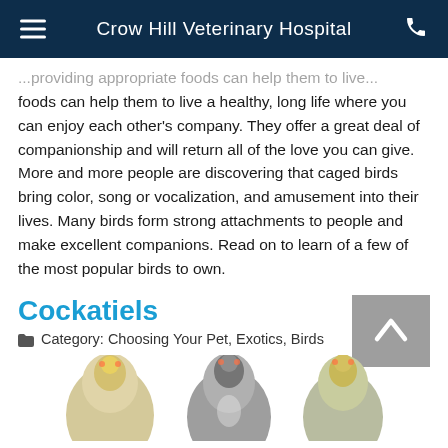Crow Hill Veterinary Hospital
foods can help them to live a healthy, long life where you can enjoy each other's company. They offer a great deal of companionship and will return all of the love you can give. More and more people are discovering that caged birds bring color, song or vocalization, and amusement into their lives. Many birds form strong attachments to people and make excellent companions. Read on to learn of a few of the most popular birds to own.
Cockatiels
Category: Choosing Your Pet, Exotics, Birds
[Figure (photo): Three cockatiels photographed from behind, showing their back feathers — one light/yellow, one grey, one yellow/green — on a white background.]